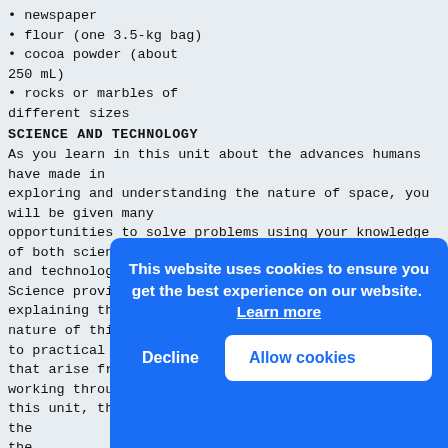• newspaper
• flour (one 3.5-kg bag)
• cocoa powder (about
250 mL)
• rocks or marbles of
different sizes
SCIENCE AND TECHNOLOGY
As you learn in this unit about the advances humans have made in
exploring and understanding the nature of space, you will be given many
opportunities to solve problems using your knowledge of both science
and technology.
Science provides an orderly way of studying and explaining the
nature of things. Technology tries to find solutions to practical problems
that arise from human needs. As you will discover in working through
this unit, there are often many possible solutions to the
technological problems that arise when scientists
study space. As you learn science concepts,
and are given the opportunity to design
the solutions to problems, you will be asked
questions like:
1. H
2. W
spac
3. H
exploration and use
of space, and how have they benefited our life on